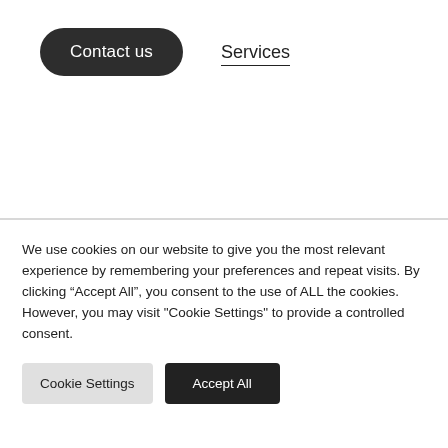Contact us
Services
We use cookies on our website to give you the most relevant experience by remembering your preferences and repeat visits. By clicking “Accept All”, you consent to the use of ALL the cookies. However, you may visit "Cookie Settings" to provide a controlled consent.
Cookie Settings
Accept All